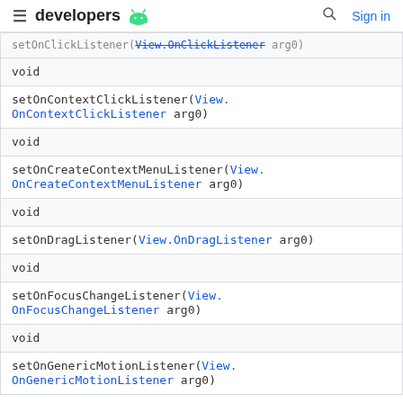developers [android logo] | search | Sign in
| setOnClickListener(View.OnClickListener arg0) [truncated] |
| void |
| setOnContextClickListener(View.OnContextClickListener arg0) |
| void |
| setOnCreateContextMenuListener(View.OnCreateContextMenuListener arg0) |
| void |
| setOnDragListener(View.OnDragListener arg0) |
| void |
| setOnFocusChangeListener(View.OnFocusChangeListener arg0) |
| void |
| setOnGenericMotionListener(View.OnGenericMotionListener arg0) |